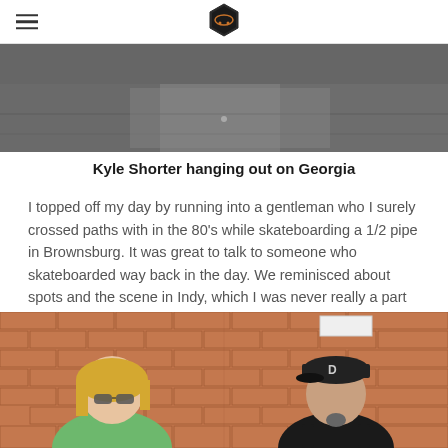[hamburger menu icon] [skateboarding logo]
[Figure (photo): Top portion of photo showing a street or skateboarding spot with pavement and shadows]
Kyle Shorter hanging out on Georgia
I topped off my day by running into a gentleman who I surely crossed paths with in the 80’s while skateboarding a 1/2 pipe in Brownsburg. It was great to talk to someone who skateboarded way back in the day. We reminisced about spots and the scene in Indy, which I was never really a part of.
[Figure (photo): Two people standing in front of a red brick wall. On the left is a woman with blonde hair wearing sunglasses and a green t-shirt. On the right is a man wearing a black Detroit Tigers cap, black tank top, and has a goatee.]